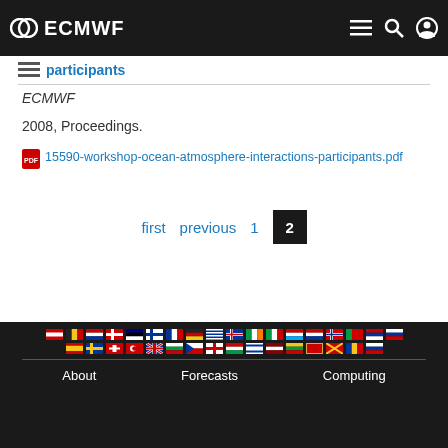ECMWF
participants
ECMWF
2008, Proceedings.
15590-workshop-ocean-atmosphere-interactions-participants.pdf
first  previous  1  2
About  Forecasts  Computing